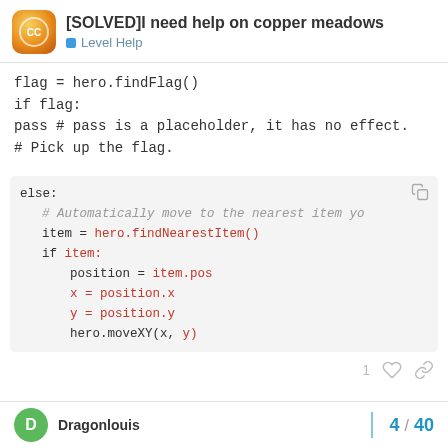[SOLVED]I need help on copper meadows — Level Help
flag = hero.findFlag()
if flag:
pass # pass is a placeholder, it has no effect.
# Pick up the flag.
[Figure (screenshot): Code block showing: else: with comment # Automatically move to the nearest item yo, then item = hero.findNearestItem(), if item:, position = item.pos, x = position.x, y = position.y, hero.moveXY(x, y)]
Dragonlouis   4 / 40